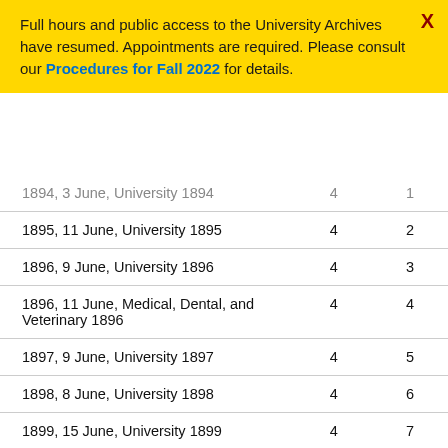Full hours and public access to the University Archives have resumed. Appointments are required. Please consult our Procedures for Fall 2022 for details.
| 1894, 3 June, University 1894 | 4 | 1 |
| 1895, 11 June, University 1895 | 4 | 2 |
| 1896, 9 June, University 1896 | 4 | 3 |
| 1896, 11 June, Medical, Dental, and Veterinary 1896 | 4 | 4 |
| 1897, 9 June, University 1897 | 4 | 5 |
| 1898, 8 June, University 1898 | 4 | 6 |
| 1899, 15 June, University 1899 | 4 | 7 |
| 1900, 13 June, University 1900 | 4 | 8 |
| 1901, 12 June, University 1901 | 4 | 9 |
| 1902, 18 June, University 1902 | 4 | 10 |